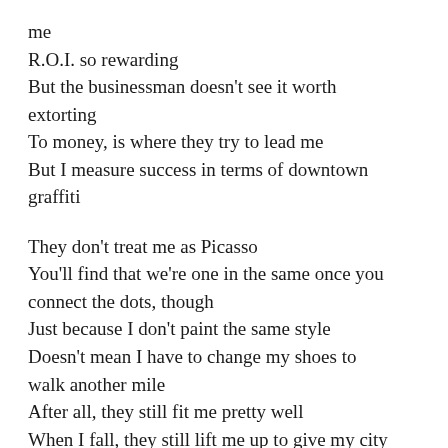me
R.O.I. so rewarding
But the businessman doesn’t see it worth extorting
To money, is where they try to lead me
But I measure success in terms of downtown graffiti
They don’t treat me as Picasso
You’ll find that we’re one in the same once you connect the dots, though
Just because I don’t paint the same style
Doesn’t mean I have to change my shoes to walk another mile
After all, they still fit me pretty well
When I fall, they still lift me up to give my city